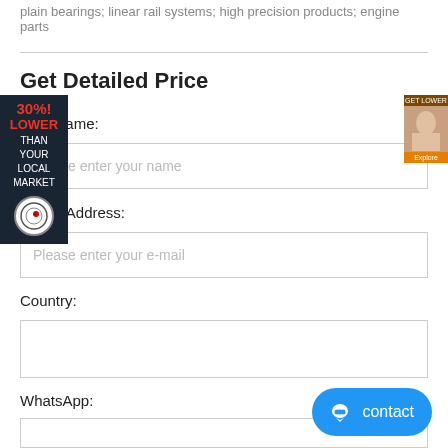plain bearings; linear rail systems; high precision products; engine parts
Get Detailed Price
Your Name:
Please enter your name
E-Mail Address:
Please enter your e-mail
Country:
WhatsApp:
[Figure (other): Overlapping ad badge showing 30% LOWER THAN YOUR LOCAL MARKET with circular logo]
[Figure (photo): Small thumbnail of a customer service representative on an orange/brown background with a button]
[Figure (other): Blue contact button with chat icon and 'contact' text]